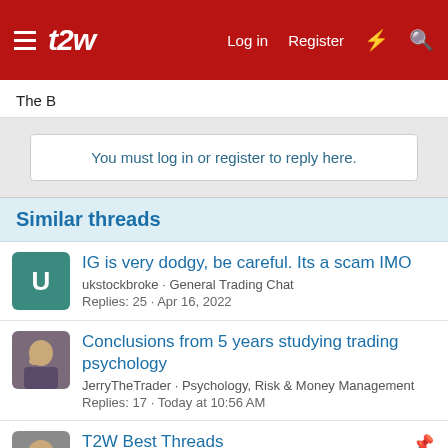t2w — Log in  Register
The B
You must log in or register to reply here.
Similar threads
IG is very dodgy, be careful. Its a scam IMO — ukstockbroke · General Trading Chat — Replies: 25 · Apr 16, 2022
Conclusions from 5 years studying trading psychology — JerryTheTrader · Psychology, Risk & Money Management — Replies: 17 · Today at 10:56 AM
T2W Best Threads — Sharky · New to Trade2Win — Replies: 0 · May 23, 2003